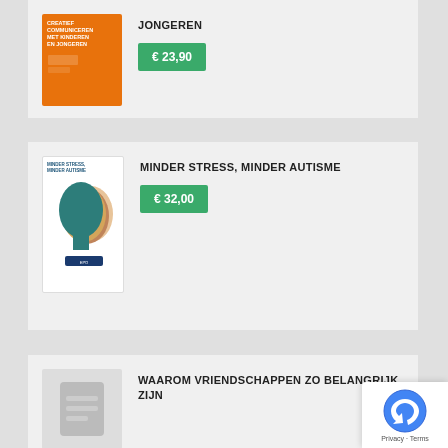[Figure (photo): Book cover: Creatief Communiceren met Kinderen en Jongeren, orange cover with white text]
JONGEREN
€ 23,90
[Figure (photo): Book cover: Minder Stress, Minder Autisme, featuring silhouette heads in multiple colors]
MINDER STRESS, MINDER AUTISME
€ 32,00
[Figure (photo): Placeholder book cover image, grey with document icon]
WAAROM VRIENDSCHAPPEN ZO BELANGRIJK ZIJN
[Figure (other): Privacy & Terms reCAPTCHA badge, bottom right corner]